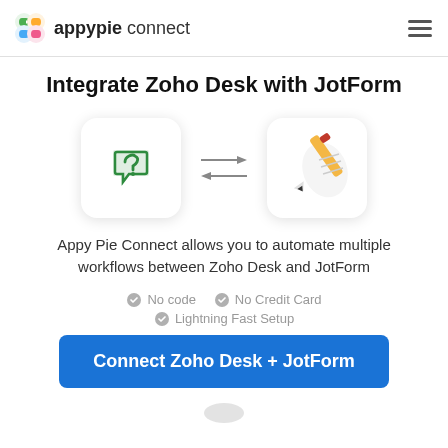appypie connect
Integrate Zoho Desk with JotForm
[Figure (illustration): Zoho Desk logo icon (green speech bubble with bracket) on left, double-headed arrows in center, JotForm logo icon (pencil writing on paper) on right, both in rounded square boxes with drop shadows]
Appy Pie Connect allows you to automate multiple workflows between Zoho Desk and JotForm
No code
No Credit Card
Lightning Fast Setup
Connect Zoho Desk + JotForm